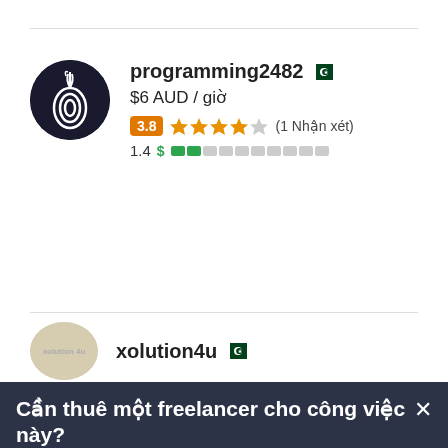[Figure (illustration): Circular avatar with dark background showing a stylized onion/tor logo icon for user programming2482]
programming2482 🇵🇰
$6 AUD / giờ
3.8 ★★★★☆ (1 Nhận xét)
1.4 $ ■□□□□□□□□□
[Figure (illustration): Circular avatar with beige/tan background showing stylized text avatar for user xolution4u]
xolution4u 🇵🇰
Cần thuê một freelancer cho công việc này? ×
Đăng dự án ngay